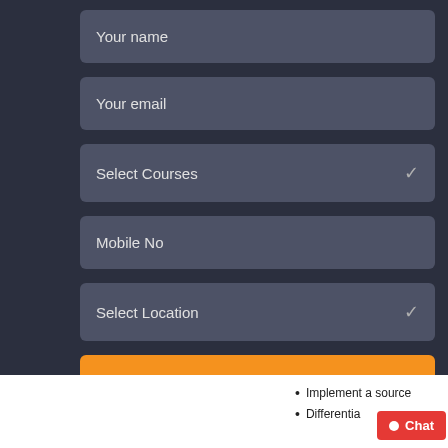[Figure (screenshot): A contact/enrollment form with dark navy background containing five input fields: Your name, Your email, Select Courses (dropdown), Mobile No, and Select Location (dropdown), plus an orange SEND MESSAGE button.]
Implement a source
Differentia
[Figure (other): Red chat button overlay with white dot and text 'Chat']